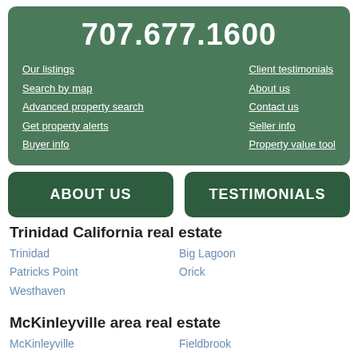707.677.1600
Our listings
Search by map
Advanced property search
Get property alerts
Buyer info
Client testimonials
About us
Contact us
Seller info
Property value tool
ABOUT US
TESTIMONIALS
Trinidad California real estate
Trinidad
Patricks Point
Westhaven
Big Lagoon
Orick
McKinleyville area real estate
McKinleyville
Dows Prairie
Fieldbrook
Azalea Hills
Arcata area real estate